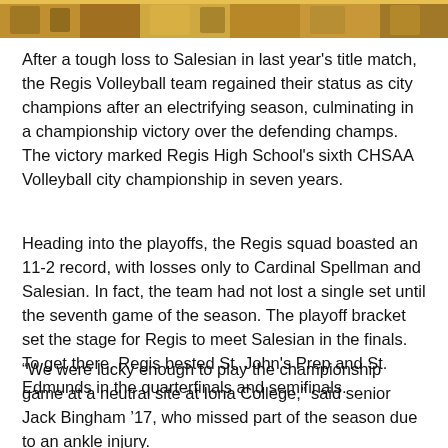[Figure (photo): Crowd/team photo at top of page, partially cropped]
After a tough loss to Salesian in last year's title match, the Regis Volleyball team regained their status as city champions after an electrifying season, culminating in a championship victory over the defending champs. The victory marked Regis High School's sixth CHSAA Volleyball city championship in seven years.
Heading into the playoffs, the Regis squad boasted an 11-2 record, with losses only to Cardinal Spellman and Salesian. In fact, the team had not lost a single set until the seventh game of the season. The playoff bracket set the stage for Regis to meet Salesian in the finals. To get there, Regis bested St. John's Prep and St. Edmunds in the quarterfinals and semifinals.
“We were lucky enough to play the championship game at a neutral site at Iona College,” said senior Jack Bingham ’17, who missed part of the season due to an ankle injury.